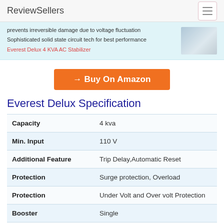ReviewSellers
prevents irreversible damage due to voltage fluctuation
Sophisticated solid state circuit tech for best performance
Everest Delux 4 KVA AC Stabilizer
→ Buy On Amazon
Everest Delux Specification
|  |  |
| --- | --- |
| Capacity | 4 kva |
| Min. Input | 110 V |
| Additional Feature | Trip Delay,Automatic Reset |
| Protection | Surge protection, Overload |
| Protection | Under Volt and Over volt Protection |
| Booster | Single |